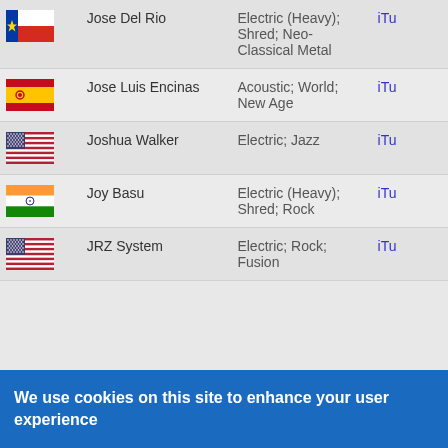| Flag | Name | Genre | Link |
| --- | --- | --- | --- |
| Chile flag | Jose Del Rio | Electric (Heavy); Shred; Neo-Classical Metal | iTu... |
| Spain flag | Jose Luis Encinas | Acoustic; World; New Age | iTu... |
| USA flag | Joshua Walker | Electric; Jazz | iTu... |
| India flag | Joy Basu | Electric (Heavy); Shred; Rock | iTu... |
| USA flag | JRZ System | Electric; Rock; Fusion | iTu... |
We use cookies on this site to enhance your user experience